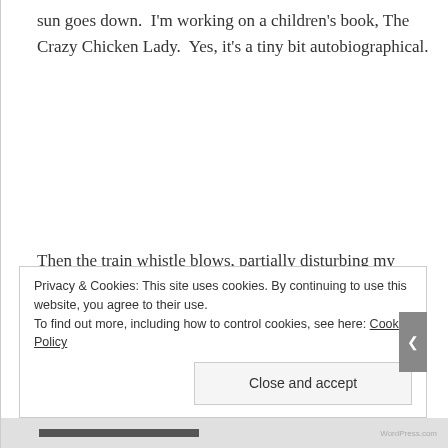sun goes down.  I'm working on a children's book, The Crazy Chicken Lady.  Yes, it's a tiny bit autobiographical.
Then the train whistle blows, partially disturbing my peace, but I'm partially used to it by now.
Sometimes I ask myself, like tonight for
Privacy & Cookies: This site uses cookies. By continuing to use this website, you agree to their use.
To find out more, including how to control cookies, see here: Cookie Policy
Close and accept